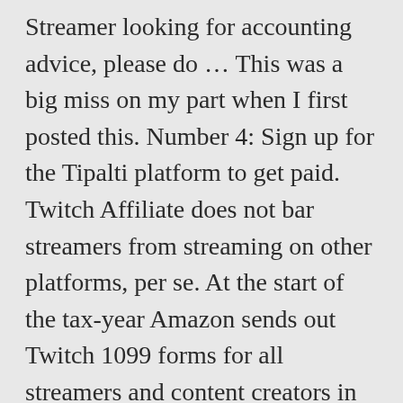Streamer looking for accounting advice, please do … This was a big miss on my part when I first posted this. Number 4: Sign up for the Tipalti platform to get paid. Twitch Affiliate does not bar streamers from streaming on other platforms, per se. At the start of the tax-year Amazon sends out Twitch 1099 forms for all streamers and content creators in the United States who made an income through Twitch last calendar year. Do I Have to Pay Taxes on my Twitch Stream Income? The amount they earn will vary from streamer to streamer. Now, just educate your audience about how to cheer during your live streams, subscribe to your channel for perks, and buy any relevant products in your channel's affiliate … Twitch